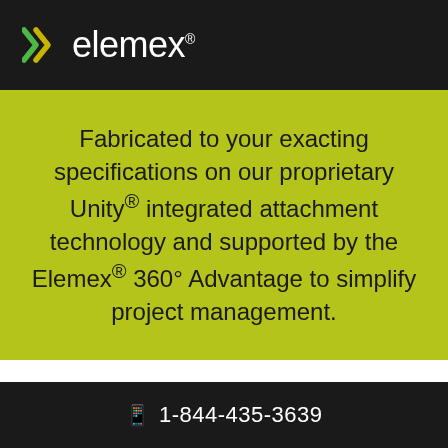[Figure (logo): Elemex logo with stylized X icon and wordmark on dark background]
Fabricated to your exacting specifications on our proprietary Unity® integrated attachment technology and supported by the Elemex® 360° Advantage to simplify project management.
📱 1-844-435-3639